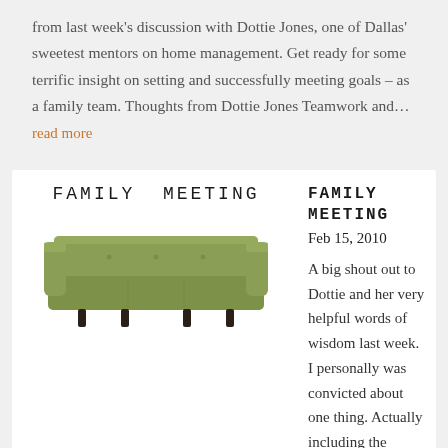from last week's discussion with Dottie Jones, one of Dallas' sweetest mentors on home management. Get ready for some terrific insight on setting and successfully meeting goals – as a family team. Thoughts from Dottie Jones Teamwork and…
read more
FAMILY MEETING
[Figure (illustration): A green mid-century modern three-seat sofa with dark wooden legs]
FAMILY MEETING
Feb 15, 2010
A big shout out to Dottie and her very helpful words of wisdom last week. I personally was convicted about one thing. Actually including the